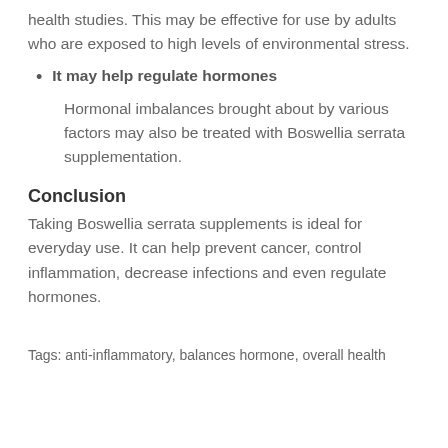health studies. This may be effective for use by adults who are exposed to high levels of environmental stress.
It may help regulate hormones
Hormonal imbalances brought about by various factors may also be treated with Boswellia serrata supplementation.
Conclusion
Taking Boswellia serrata supplements is ideal for everyday use. It can help prevent cancer, control inflammation, decrease infections and even regulate hormones.
Tags: anti-inflammatory, balances hormone, overall health